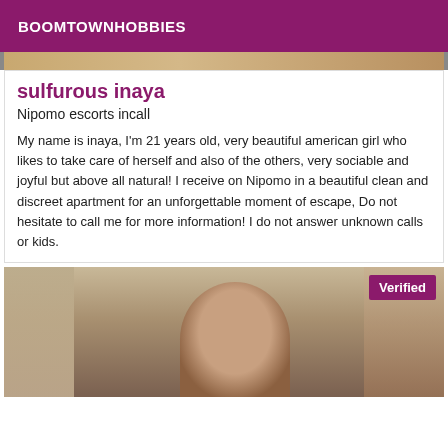BOOMTOWNHOBBIES
[Figure (photo): Top partial photo strip, appears to be an interior/room scene with warm tones]
sulfurous inaya
Nipomo escorts incall
My name is inaya, I'm 21 years old, very beautiful american girl who likes to take care of herself and also of the others, very sociable and joyful but above all natural! I receive on Nipomo in a beautiful clean and discreet apartment for an unforgettable moment of escape, Do not hesitate to call me for more information! I do not answer unknown calls or kids.
[Figure (photo): Photo of a young woman with dark hair, partially visible, in an interior setting. A 'Verified' badge is shown in the top-right corner of the image.]